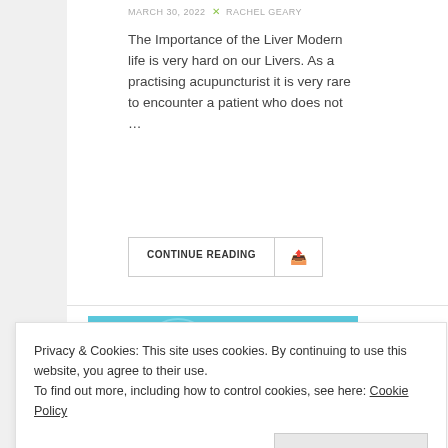MARCH 30, 2022 × RACHEL GEARY
The Importance of the Liver Modern life is very hard on our Livers. As a practising acupuncturist it is very rare to encounter a patient who does not …
CONTINUE READING
[Figure (photo): Water Element – blue-toned abstract water cells image with 'Water Element' text overlaid in white]
Privacy & Cookies: This site uses cookies. By continuing to use this website, you agree to their use.
To find out more, including how to control cookies, see here: Cookie Policy
Close and accept
Acupuncture For